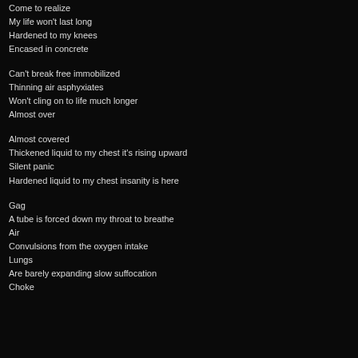Come to realize
My life won't last long
Hardened to my knees
Encased in concrete

Can't break free immobilized
Thinning air asphyxiates
Won't cling on to life much longer
Almost over

Almost covered
Thickened liquid to my chest it's rising upward
Silent panic
Hardened liquid to my chest insanity is here

Gag
A tube is forced down my throat to breathe
Air
Convulsions from the oxygen intake
Lungs
Are barely expanding slow suffocation
Choke